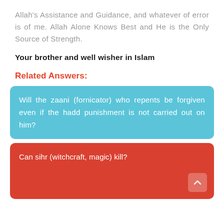Allah's Assistance and Guidance, and whatever of error is of me. Allah Alone Knows Best and He is the Only Source of Strength.
Your brother and well wisher in Islam
Related Answers:
Will the zaani (fornicator) who repents be forgiven even if the hadd punishment is not carried out on him?
Can sihr (witchcraft, magic) kill?